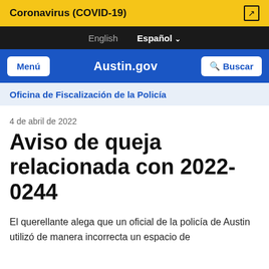Coronavirus (COVID-19)
English  Español
Menú  Austin.gov  Buscar
Oficina de Fiscalización de la Policía
4 de abril de 2022
Aviso de queja relacionada con 2022-0244
El querellante alega que un oficial de la policía de Austin utilizó de manera incorrecta un espacio de